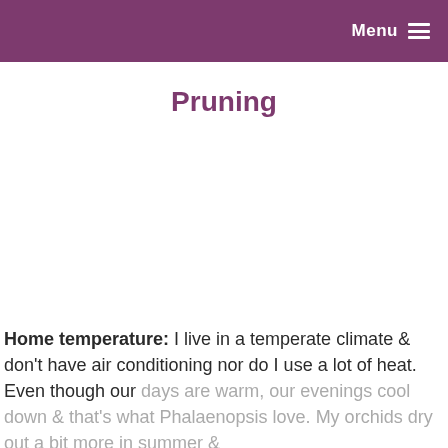Menu
Pruning
Home temperature:  I live in a temperate climate & don't have air conditioning nor do I use a lot of heat. Even though our days are warm, our evenings cool down & that's what Phalaenopsis love.  My orchids dry out a bit more in summer &